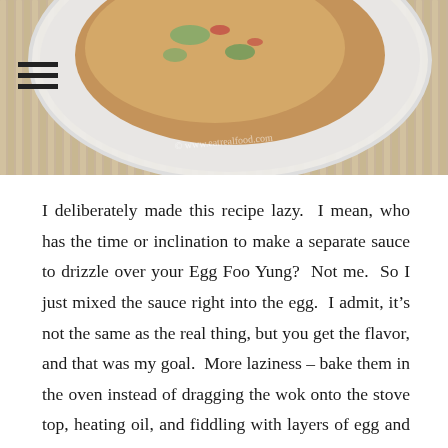[Figure (photo): A food photo showing an egg foo yung omelet in a white bowl, placed on a bamboo mat background. A watermark reads © www.eatrealfood.com or similar.]
I deliberately made this recipe lazy. I mean, who has the time or inclination to make a separate sauce to drizzle over your Egg Foo Yung? Not me. So I just mixed the sauce right into the egg. I admit, it's not the same as the real thing, but you get the flavor, and that was my goal. More laziness – bake them in the oven instead of dragging the wok onto the stove top, heating oil, and fiddling with layers of egg and veggies. Easy. Lazy. Who cares?
These gorgeous little eggy omelets are bursting with vegetable goodness. They are super-moist because you do not pre-cook the veggies. They're super-simple, speedy to sling together and